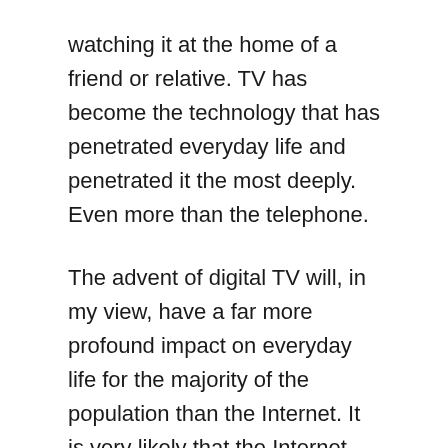watching it at the home of a friend or relative. TV has become the technology that has penetrated everyday life and penetrated it the most deeply. Even more than the telephone.
The advent of digital TV will, in my view, have a far more profound impact on everyday life for the majority of the population than the Internet. It is very likely that the Internet will continue to exist alongside the telephone and the wireless but it will be, I suspect, the preserve of the literati; it will attract the devotions of a dedicated following, like citizen band radio still does following the passing of its hey-day. Digital TV however will replace newspapers and the Internet as the main